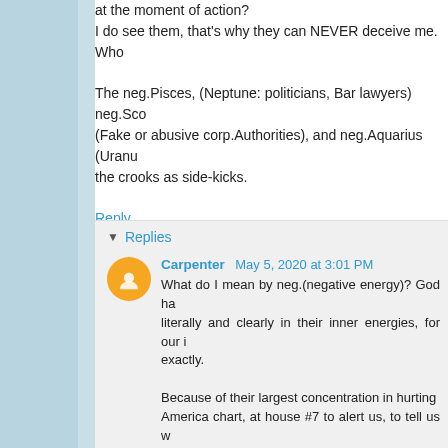at the moment of action?
I do see them, that's why they can NEVER deceive me. Who
The neg.Pisces, (Neptune: politicians, Bar lawyers) neg.Sco (Fake or abusive corp.Authorities), and neg.Aquarius (Uranu the crooks as side-kicks.
Reply
▾ Replies
Carpenter  May 5, 2020 at 3:01 PM
What do I mean by neg.(negative energy)? God ha literally and clearly in their inner energies, for our i exactly.

Because of their largest concentration in hurting America chart, at house #7 to alert us, to tell us w America internally.
This is Not astrology, this is science. Astrologers re point, perfecting focus point. I.E. 180 degree or 60 d
Carpenter  May 5, 2020 at 3:45 PM
This comment has been removed by the author.